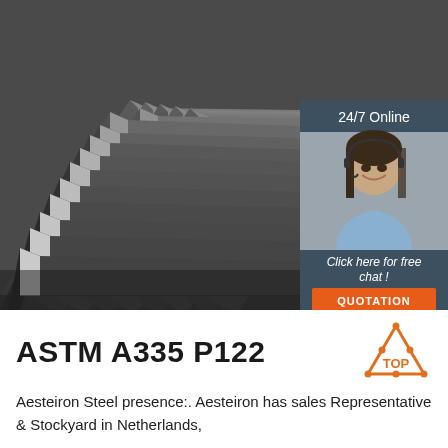[Figure (photo): Stack of steel angle bars (L-shaped structural steel profiles) arranged in a pile, photographed from the side showing their V-shaped cross-sections. A customer service widget is overlaid on the top-right corner showing '24/7 Online', a woman with a headset, 'Click here for free chat!' text, and an orange QUOTATION button.]
ASTM A335 P122
Aesteiron Steel presence:. Aesteiron has sales Representative & Stockyard in Netherlands,